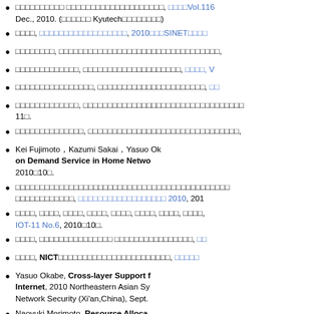□□□□□□□□□□ □□□□□□□□□□□□□□□□□□□□, □□□□Vol.116, Dec., 2010. (□□□□□□ Kyutech□□□□□□□□)
□□□□, □□□□□□□□□□□□□□□□□□, 2010□□□SINET□□□□
□□□□□□□□, □□□□□□□□□□□□□□□□□□□□□□□□□□□□□□□□□,
□□□□□□□□□□□□□, □□□□□□□□□□□□□□□□□□□□, □□□□, V
□□□□□□□□□□□□□□□□, □□□□□□□□□□□□□□□□□□□□□□, □□
□□□□□□□□□□□□□, □□□□□□□□□□□□□□□□□□□□□□□□□□□□□□□□□ 11□.
□□□□□□□□□□□□□□, □□□□□□□□□□□□□□□□□□□□□□□□□□□□□□□, □
Kei Fujimoto, Kazumi Sakai, Yasuo Ok...，Cross-layer Support on Demand Service in Home Netwo..., 2010□10□.
□□□□□□□□□□□□□□□□□□□□□□□□□□□□□□□□□□□□□□□□□□□□□□□□□□□□□□□□□□□□□□□□□□□□□□□□□□□□□□□□□□□□□□□□□ 2010, 2010
□□□□, □□□□, □□□□, □□□□, □□□□, □□□□, □□□□, □□□□, □ IOT-11 No.6, 2010□10□.
□□□□, □□□□□□□□□□□□□□□ □□□□□□□□□□□□□□□□, □□
□□□□, NICT□□□□□□□□□□□□□□□□□□□□□□□, □□□□□
Yasuo Okabe, Cross-layer Support for Internet, 2010 Northeastern Asian Sy... Network Security (Xi'an,China), Sept.
Naoyuki Morimoto, Resource Alloca... Core University Program Seminar on... Resort, Korea, Sept. 2010.